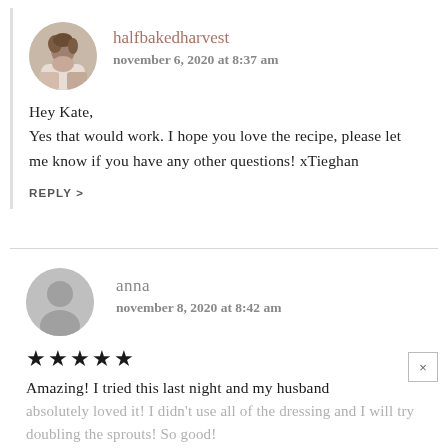[Figure (photo): Circular avatar photo of halfbakedharvest user - young woman with dark hair outdoors]
halfbakedharvest
november 6, 2020 at 8:37 am
Hey Kate,
Yes that would work. I hope you love the recipe, please let me know if you have any other questions! xTieghan
REPLY >
[Figure (illustration): Generic grey circular user avatar placeholder for anna]
anna
november 8, 2020 at 8:42 am
★★★★★
Amazing! I tried this last night and my husband absolutely loved it! I didn't use all of the dressing and I will try doubling the sprouts! So good!